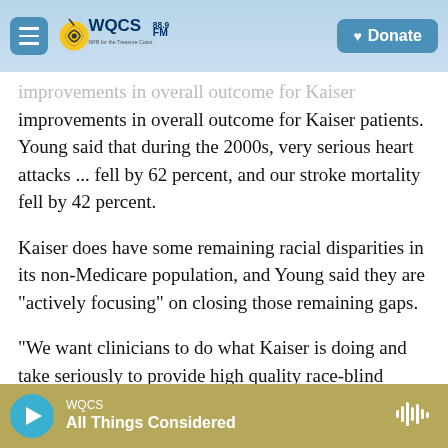WQCS 88.9 FM — NPR for the Treasure Coast
improvements in overall outcome for Kaiser patients. Young said that during the 2000s, very serious heart attacks ... fell by 62 percent, and our stroke mortality fell by 42 percent.
Kaiser does have some remaining racial disparities in its non-Medicare population, and Young said they are "actively focusing" on closing those remaining gaps.
"We want clinicians to do what Kaiser is doing and take seriously to provide high quality race-blind clinical care," says Dr. Anthony Iton, who leads the
WQCS — All Things Considered